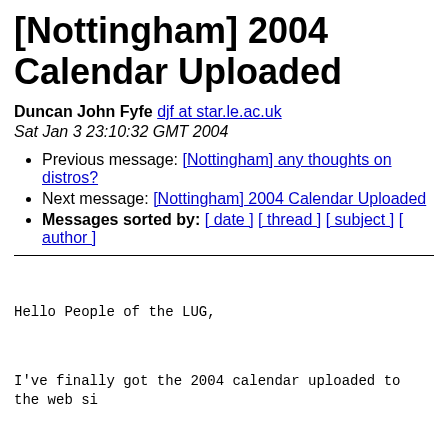[Nottingham] 2004 Calendar Uploaded
Duncan John Fyfe djf at star.le.ac.uk
Sat Jan 3 23:10:32 GMT 2004
Previous message: [Nottingham] any thoughts on distros?
Next message: [Nottingham] 2004 Calendar Uploaded
Messages sorted by: [ date ] [ thread ] [ subject ] [ author ]
Hello People of the LUG,
I've finally got the 2004 calendar uploaded to the web si
Have a look for details of Revolution OS - yes we are sho
Noteworthy notes in no particular order are:
1. We are going to try 2 events per month for a bit to se
interesting things into the coming year.
2. With the exception of January which is always an odd m
I've kept a regular social every 2 months and wrapped eve